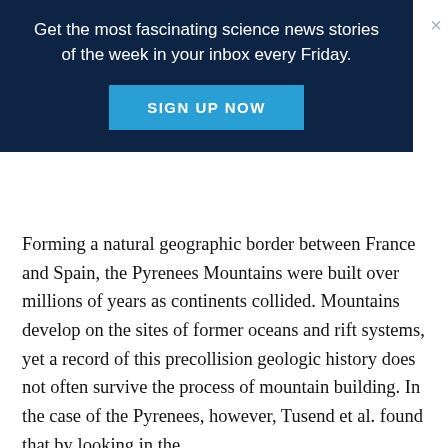Get the most fascinating science news stories of the week in your inbox every Friday.
SIGN UP NOW
Forming a natural geographic border between France and Spain, the Pyrenees Mountains were built over millions of years as continents collided. Mountains develop on the sites of former oceans and rift systems, yet a record of this precollision geologic history does not often survive the process of mountain building. In the case of the Pyrenees, however, Tusend et al. found that by looking in the